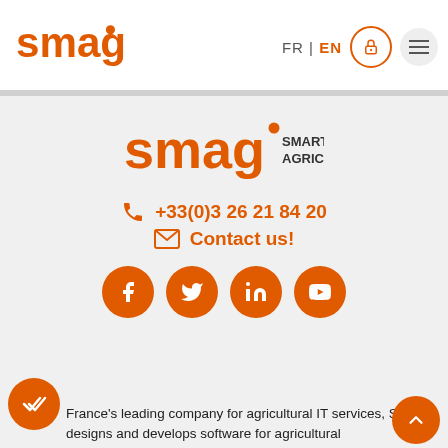[Figure (logo): SMAG orange logo in header]
FR | EN
[Figure (screenshot): Lock icon button and hamburger menu button]
[Figure (logo): SMAG Smart Agriculture logo in footer section]
+33(0)3 26 21 84 20
Contact us!
[Figure (infographic): Social media icons: Facebook, Twitter, LinkedIn, YouTube]
France's leading company for agricultural IT services, SMAG designs and develops software for agricultural